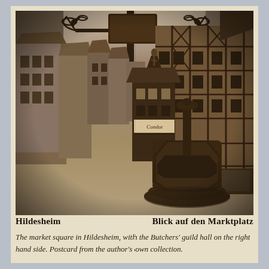[Figure (photo): Sepia-toned postcard photograph of the market square (Marktplatz) in Hildesheim, Germany. Foreground shows a large stone well/fountain in the center-right. A decorative wrought-iron sign hangs from above in the upper portion. Half-timbered buildings line the square; the Butchers' guild hall (Knochenhaueramtshaus) is prominent on the right. Cobblestoned square is largely empty. Historical black-and-white/sepia photograph.]
Hildesheim     Blick auf den Marktplatz
The market square in Hildesheim, with the Butchers' guild hall on the right hand side. Postcard from the author's own collection.